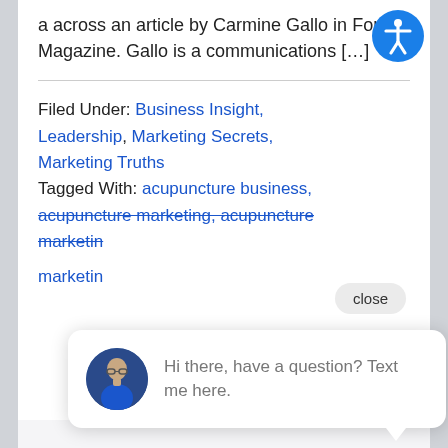a across an article by Carmine Gallo in Forbes Magazine. Gallo is a communications […]
Filed Under: Business Insight, Leadership, Marketing Secrets, Marketing Truths
Tagged With: acupuncture business, acupuncture marketing, acupuncture marketing, acupuncture marketing
[Figure (other): Accessibility icon - blue circle with white person figure, top right corner]
[Figure (other): Chat popup with avatar photo of man wearing glasses and blue shirt, text: Hi there, have a question? Text me here.]
[Figure (other): Blue circular chat button at bottom right]